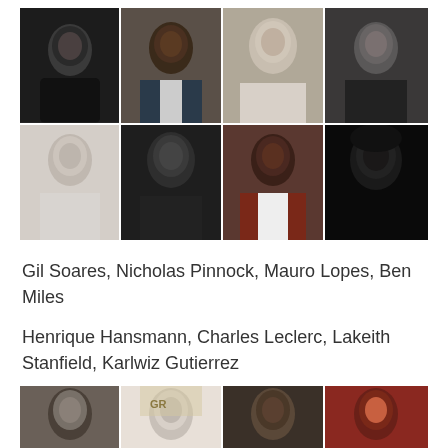[Figure (photo): 8-panel photo collage of male actors/models in 2 rows of 4: top row contains photos of Gil Soares (B&W), Nicholas Pinnock (color, suit), Mauro Lopes (B&W close-up), Ben Miles (B&W); second row contains Henrique Hansmann (B&W shirtless), Charles Leclerc (B&W close-up), Lakeith Stanfield (color, burgundy), Karlwiz Gutierrez (B&W dramatic)]
Gil Soares, Nicholas Pinnock, Mauro Lopes, Ben Miles
Henrique Hansmann, Charles Leclerc, Lakeith Stanfield, Karlwiz Gutierrez
[Figure (photo): Partial photo collage showing bottom portion of the page: 2 rows of 4 male actor/model photos, partially cut off at bottom]